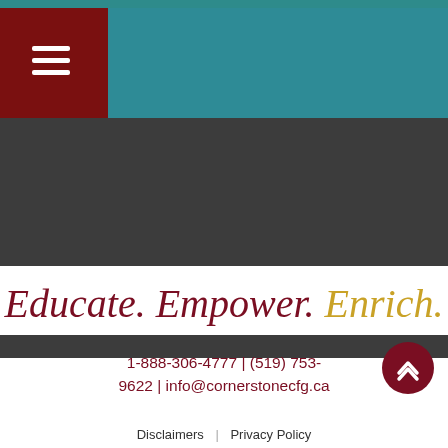Navigation menu bar with hamburger icon and teal band
[Figure (screenshot): Dark gray background section representing website content area with teal top bar and dark red hamburger menu button]
Educate. Empower. Enrich.
1-888-306-4777 | (519) 753-9622 | info@cornerstonecfg.ca
Disclaimers | Privacy Policy